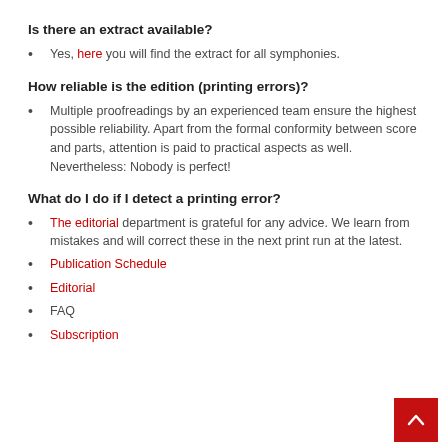Is there an extract available?
Yes, here you will find the extract for all symphonies.
How reliable is the edition (printing errors)?
Multiple proofreadings by an experienced team ensure the highest possible reliability. Apart from the formal conformity between score and parts, attention is paid to practical aspects as well. Nevertheless: Nobody is perfect!
What do I do if I detect a printing error?
The editorial department is grateful for any advice. We learn from mistakes and will correct these in the next print run at the latest.
Publication Schedule
Editorial
FAQ
Subscription